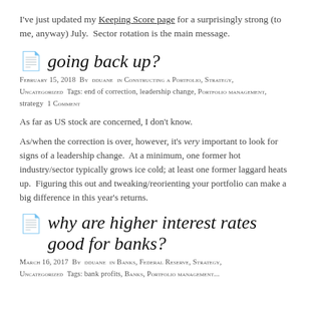I've just updated my Keeping Score page for a surprisingly strong (to me, anyway) July.  Sector rotation is the main message.
going back up?
February 15, 2018  By  dduane  in Constructing a Portfolio, Strategy, Uncategorized  Tags: end of correction, leadership change, Portfolio management, strategy  1 Comment
As far as US stock are concerned, I don't know.
As/when the correction is over, however, it's very important to look for signs of a leadership change.  At a minimum, one former hot industry/sector typically grows ice cold; at least one former laggard heats up.  Figuring this out and tweaking/reorienting your portfolio can make a big difference in this year's returns.
why are higher interest rates good for banks?
March 16, 2017  By  dduane  in Banks, Federal Reserve, Strategy, Uncategorized  Tags: bank profits, Banks, Portfolio management...